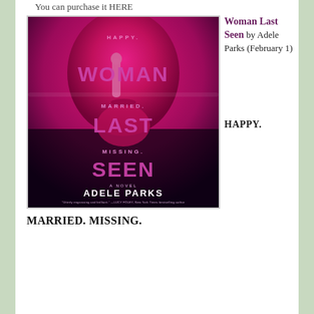You can purchase it HERE
[Figure (photo): Book cover of 'Woman Last Seen' by Adele Parks. Features a close-up of a woman's face with a finger over her lips in a shushing gesture, in magenta/pink tones. Text on cover reads: HAPPY. WOMAN LAST SEEN MARRIED. MISSING. A NOVEL ADELE PARKS. Quote: "Utterly engrossing and brilliant." —LUCY FOLEY, New York Times bestselling author of The Guest List, on Just My Luck]
Woman Last Seen by Adele Parks (February 1)

HAPPY.
MARRIED. MISSING.